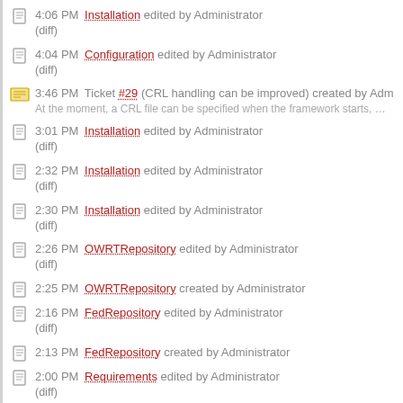4:06 PM Installation edited by Administrator (diff)
4:04 PM Configuration edited by Administrator (diff)
3:46 PM Ticket #29 (CRL handling can be improved) created by Administrator
At the moment, a CRL file can be specified when the framework starts, ...
3:01 PM Installation edited by Administrator (diff)
2:32 PM Installation edited by Administrator (diff)
2:30 PM Installation edited by Administrator (diff)
2:26 PM OWRTRepository edited by Administrator (diff)
2:25 PM OWRTRepository created by Administrator
2:16 PM FedRepository edited by Administrator (diff)
2:13 PM FedRepository created by Administrator
2:00 PM Requirements edited by Administrator (diff)
1:46 PM Requirements edited by Administrator